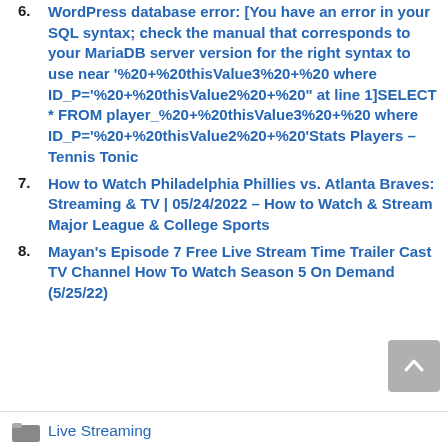6. WordPress database error: [You have an error in your SQL syntax; check the manual that corresponds to your MariaDB server version for the right syntax to use near '%20+%20thisValue3%20+%20 where ID_P='%20+%20thisValue2%20+%20" at line 1]SELECT * FROM player_%20+%20thisValue3%20+%20 where ID_P='%20+%20thisValue2%20+%20'Stats Players – Tennis Tonic
7. How to Watch Philadelphia Phillies vs. Atlanta Braves: Streaming & TV | 05/24/2022 – How to Watch & Stream Major League & College Sports
8. Mayan's Episode 7 Free Live Stream Time Trailer Cast TV Channel How To Watch Season 5 On Demand (5/25/22)
Live Streaming